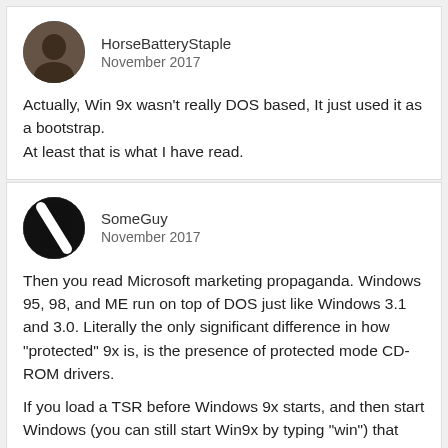[Figure (photo): Round avatar photo of user HorseBatteryStaple, showing a person in dark tones]
HorseBatteryStaple
November 2017
Actually, Win 9x wasn't really DOS based, It just used it as a bootstrap.
At least that is what I have read.
[Figure (illustration): Round avatar with a diagonal slash/stripe logo for user SomeGuy, black and white]
SomeGuy
November 2017
Then you read Microsoft marketing propaganda. Windows 95, 98, and ME run on top of DOS just like Windows 3.1 and 3.0. Literally the only significant difference in how "protected" 9x is, is the presence of protected mode CD-ROM drivers.

If you load a TSR before Windows 9x starts, and then start Windows (you can still start Win9x by typing "win") that TSR will keep running in the background. That is very useful for devices that only have DOS drivers. They still work in 9x.